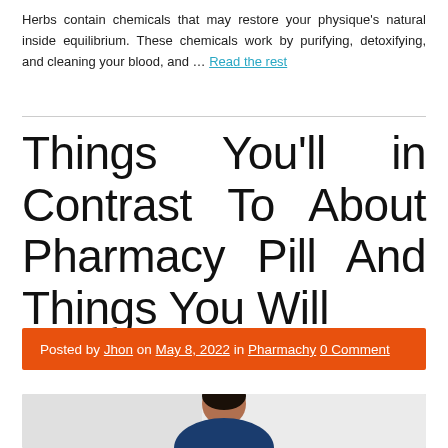Herbs contain chemicals that may restore your physique's natural inside equilibrium. These chemicals work by purifying, detoxifying, and cleaning your blood, and … Read the rest
Things You'll in Contrast To About Pharmacy Pill And Things You Will
Posted by Jhon on May 8, 2022 in Pharmachy 0 Comment
[Figure (photo): A smiling woman, likely a healthcare professional, photographed from above the shoulders against a light background.]